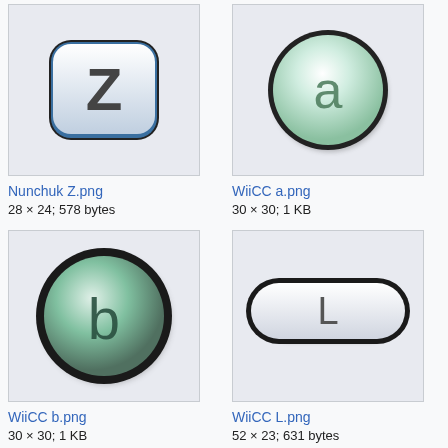[Figure (illustration): Nunchuk Z button icon - rounded square with letter Z]
Nunchuk Z.png
28 × 24; 578 bytes
[Figure (illustration): WiiCC a button icon - circular button with letter a]
WiiCC a.png
30 × 30; 1 KB
[Figure (illustration): WiiCC b button icon - circular button with letter b]
WiiCC b.png
30 × 30; 1 KB
[Figure (illustration): WiiCC L button icon - pill/capsule shape with letter L]
WiiCC L.png
52 × 23; 631 bytes
[Figure (illustration): Partially visible circular button icon with letter I (cropped at bottom)]
[Figure (illustration): Partially visible button icon (cropped at bottom)]